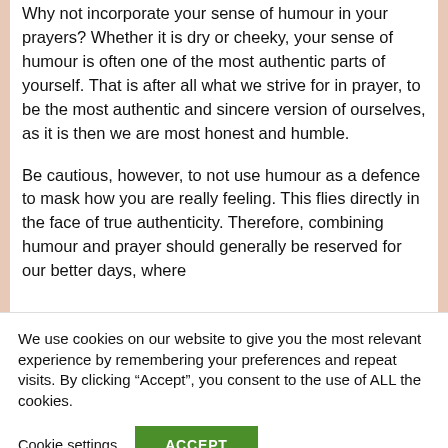Why not incorporate your sense of humour in your prayers? Whether it is dry or cheeky, your sense of humour is often one of the most authentic parts of yourself. That is after all what we strive for in prayer, to be the most authentic and sincere version of ourselves, as it is then we are most honest and humble.
Be cautious, however, to not use humour as a defence to mask how you are really feeling. This flies directly in the face of true authenticity. Therefore, combining humour and prayer should generally be reserved for our better days, where
We use cookies on our website to give you the most relevant experience by remembering your preferences and repeat visits. By clicking “Accept”, you consent to the use of ALL the cookies.
Cookie settings
ACCEPT